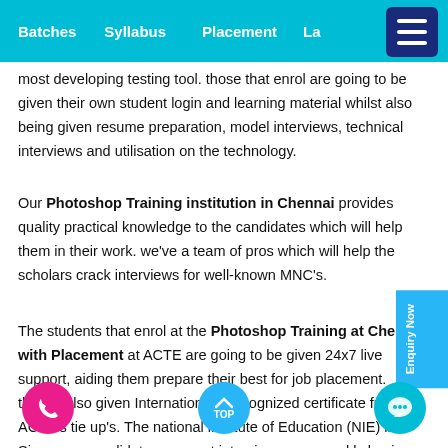Batches   Syllabus   Placement   La...
most developing testing tool. those that enrol are going to be given their own student login and learning material whilst also being given resume preparation, model interviews, technical interviews and utilisation on the technology.
Our Photoshop Training institution in Chennai provides quality practical knowledge to the candidates which will help them in their work. we've a team of pros which will help the scholars crack interviews for well-known MNC's.
The students that enrol at the Photoshop Training at Chennai with Placement at ACTE are going to be given 24x7 live support, aiding them prepare their best for job placement. they're also given Internationally recognized certificate from ACTE's tie up's. The national institute of Education (NIE) in Singapore candidates are sent interviews on a weekly basis until all of them are placed.